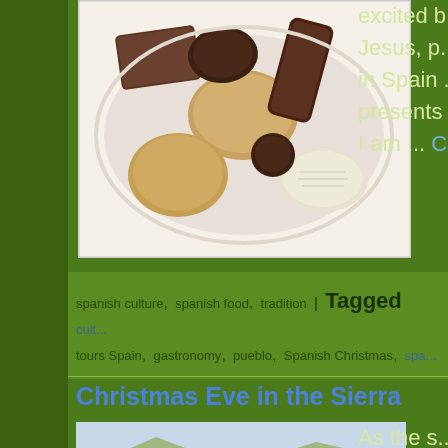[Figure (photo): Photo of Spanish Christmas sweets/cookies on a white plate, various baked goods including what appear to be polvorones and other traditional Spanish Christmas confections]
excited b... Jesus, p... in Spain ... presents ... I am ... C...
spanish culture, spanish food, tradition | Tagged cult... tours Spain, gastronomy, pueblo, Spanish Christmas, spa...
Christmas Eve in the Sierra
[Figure (photo): Photo of a flock of sheep on dry grassy ground, with several sheep visible in close-up, a hilltop village scene]
As the s... hilltop he... huddled ... mountain... the twink... him to na...